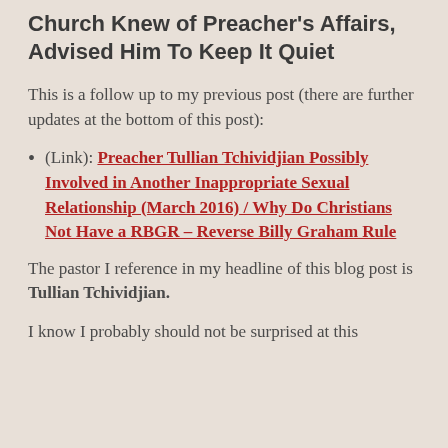Church Knew of Preacher's Affairs, Advised Him To Keep It Quiet
This is a follow up to my previous post (there are further updates at the bottom of this post):
(Link): Preacher Tullian Tchividjian Possibly Involved in Another Inappropriate Sexual Relationship (March 2016) / Why Do Christians Not Have a RBGR – Reverse Billy Graham Rule
The pastor I reference in my headline of this blog post is Tullian Tchividjian.
I know I probably should not be surprised at this